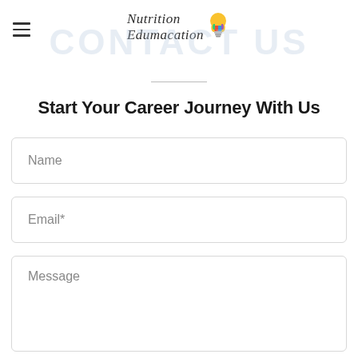Nutrition Edumacation
CONTACT US
Start Your Career Journey With Us
Name
Email*
Message